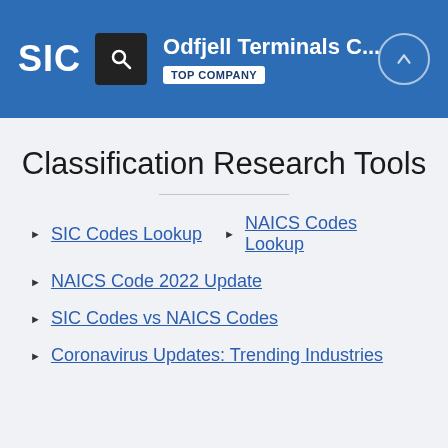SIC | Odfjell Terminals C... | TOP COMPANY
Classification Research Tools
SIC Codes Lookup
NAICS Codes Lookup
NAICS Code 2022 Update
SIC Codes vs NAICS Codes
Coronavirus Updates: Trending Industries